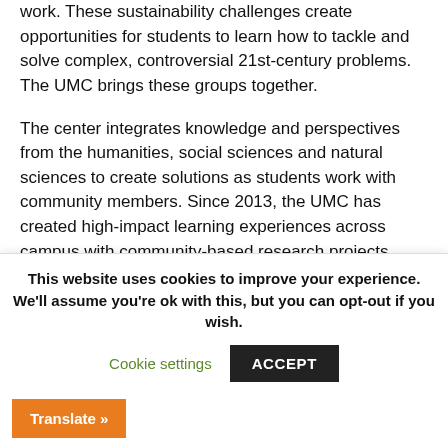work. These sustainability challenges create opportunities for students to learn how to tackle and solve complex, controversial 21st-century problems. The UMC brings these groups together.
The center integrates knowledge and perspectives from the humanities, social sciences and natural sciences to create solutions as students work with community members. Since 2013, the UMC has created high-impact learning experiences across campus with community-based research projects, project-based learning experiences for existing courses...
This website uses cookies to improve your experience. We'll assume you're ok with this, but you can opt-out if you wish.
Cookie settings
ACCEPT
Translate »